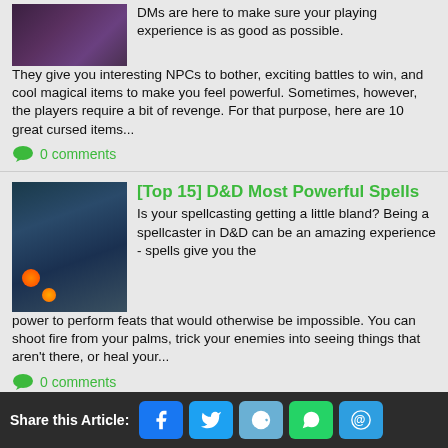DMs are here to make sure your playing experience is as good as possible. They give you interesting NPCs to bother, exciting battles to win, and cool magical items to make you feel powerful. Sometimes, however, the players require a bit of revenge. For that purpose, here are 10 great cursed items...
0 comments
[Top 15] D&D Most Powerful Spells
Is your spellcasting getting a little bland? Being a spellcaster in D&D can be an amazing experience - spells give you the power to perform feats that would otherwise be impossible. You can shoot fire from your palms, trick your enemies into seeing things that aren't there, or heal your...
0 comments
Top 10 Zombie
Share this Article: